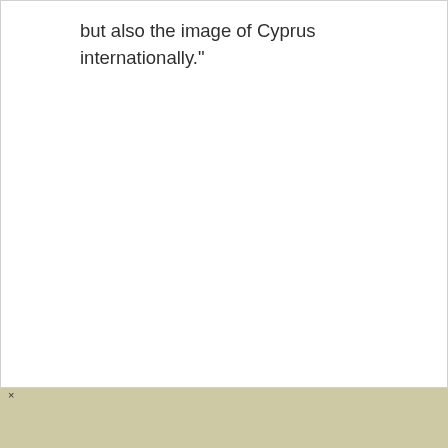but also the image of Cyprus internationally."